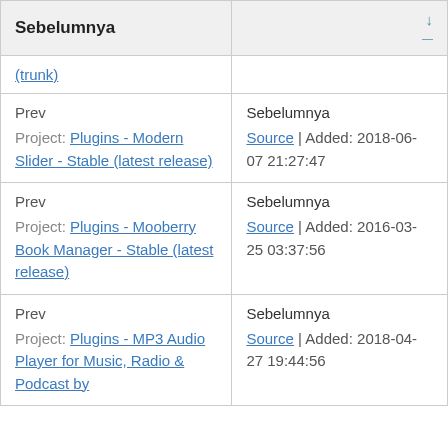| Sebelumnya | ↓ |
| --- | --- |
| (trunk) |  |
| Prev
Project: Plugins - Modern Slider - Stable (latest release) | Sebelumnya
Source | Added: 2018-06-07 21:27:47 |
| Prev
Project: Plugins - Mooberry Book Manager - Stable (latest release) | Sebelumnya
Source | Added: 2016-03-25 03:37:56 |
| Prev
Project: Plugins - MP3 Audio Player for Music, Radio & Podcast by | Sebelumnya
Source | Added: 2018-04-27 19:44:56 |